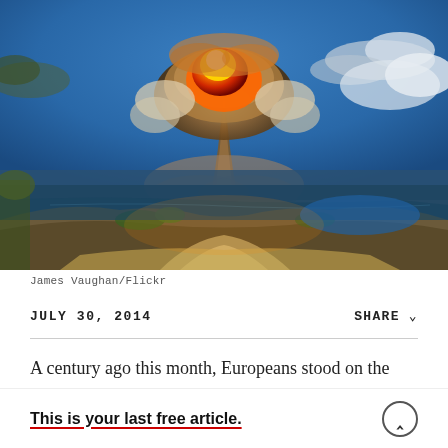[Figure (photo): Nuclear mushroom cloud explosion over ocean landscape, aerial view showing atoll/island with fireball and smoke column rising into blue cloudy sky]
James Vaughan/Flickr
JULY 30, 2014    SHARE
A century ago this month, Europeans stood on the
This is your last free article.